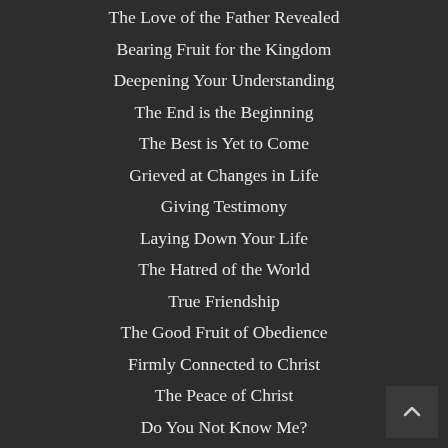The Love of the Father Revealed
Bearing Fruit for the Kingdom
Deepening Your Understanding
The End is the Beginning
The Best is Yet to Come
Grieved at Changes in Life
Giving Testimony
Laying Down Your Life
The Hatred of the World
True Friendship
The Good Fruit of Obedience
Firmly Connected to Christ
The Peace of Christ
Do You Not Know Me?